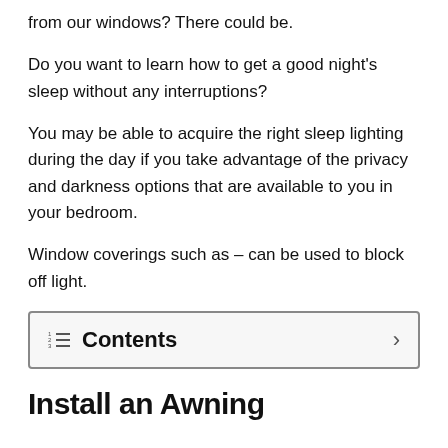from our windows? There could be.
Do you want to learn how to get a good night's sleep without any interruptions?
You may be able to acquire the right sleep lighting during the day if you take advantage of the privacy and darkness options that are available to you in your bedroom.
Window coverings such as – can be used to block off light.
Contents
Install an Awning